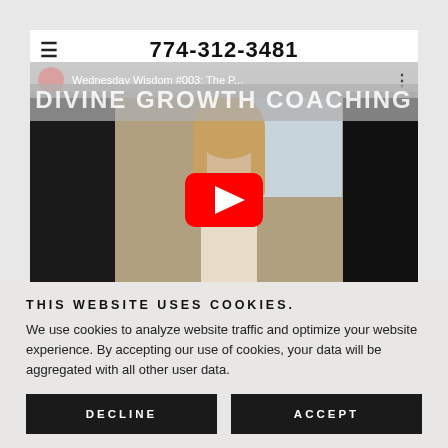774-312-3481
Wednesday Wisdom #003: The P...
DIVINE GROWTH COACHING
[Figure (screenshot): Video thumbnail of a woman smiling with a YouTube play button overlay]
THIS WEBSITE USES COOKIES.
We use cookies to analyze website traffic and optimize your website experience. By accepting our use of cookies, your data will be aggregated with all other user data.
DECLINE
ACCEPT